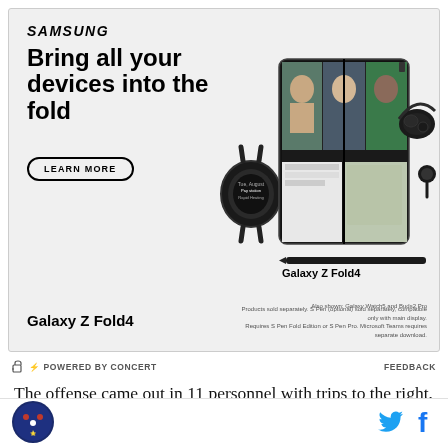[Figure (screenshot): Samsung Galaxy Z Fold4 advertisement showing Samsung logo, headline 'Bring all your devices into the fold', a LEARN MORE button, and product images of Galaxy Z Fold4 open with video call, Galaxy Watch5, Buds2 Pro, and S Pen on a gray background. Bottom text: Galaxy Z Fold4 with disclaimer about products sold separately.]
⚡ POWERED BY CONCERT
FEEDBACK
The offense came out in 11 personnel with trips to the right, tight end Derek Carrier (89) split out wide to the
[Figure (logo): Round sports site logo with blue background]
[Figure (logo): Twitter bird icon in blue]
[Figure (logo): Facebook f icon in blue]